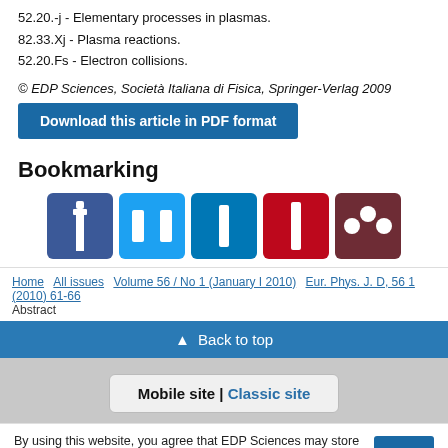52.20.-j - Elementary processes in plasmas.
82.33.Xj - Plasma reactions.
52.20.Fs - Electron collisions.
© EDP Sciences, Società Italiana di Fisica, Springer-Verlag 2009
Download this article in PDF format
Bookmarking
[Figure (infographic): Social media bookmarking icons: Facebook, Twitter, LinkedIn, Pinterest, Mendeley]
Home  All issues  Volume 56 / No 1 (January I 2010)  Eur. Phys. J. D, 56 1 (2010) 61-66  Abstract
▲  Back to top
Mobile site | Classic site
By using this website, you agree that EDP Sciences may store web audience measurement cookies and, on some pages, cookies from social networks. More information and setup  OK